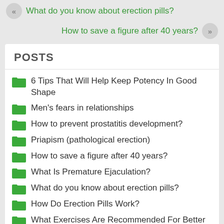What do you know about erection pills?
How to save a figure after 40 years?
POSTS
6 Tips That Will Help Keep Potency In Good Shape
Men's fears in relationships
How to prevent prostatitis development?
Priapism (pathological erection)
How to save a figure after 40 years?
What Is Premature Ejaculation?
What do you know about erection pills?
How Do Erection Pills Work?
What Exercises Are Recommended For Better Sex?
Levitra Vs Cialis
What should you know about premature ejaculation?
Stendra supplements are approved by Federal Drug Administration